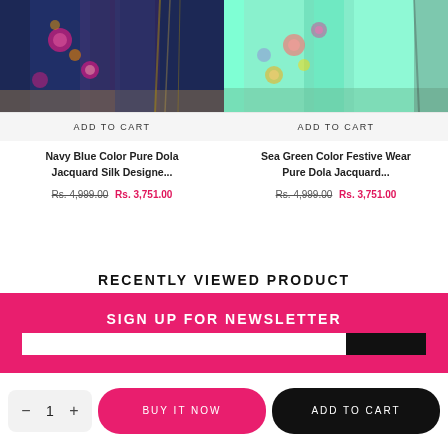[Figure (photo): Navy Blue Color Pure Dola Jacquard Silk Saree product photo]
ADD TO CART
Navy Blue Color Pure Dola Jacquard Silk Designe...
Rs. 4,999.00 Rs. 3,751.00
[Figure (photo): Sea Green Color Festive Wear Pure Dola Jacquard Saree product photo]
ADD TO CART
Sea Green Color Festive Wear Pure Dola Jacquard...
Rs. 4,999.00 Rs. 3,751.00
RECENTLY VIEWED PRODUCT
SIGN UP FOR NEWSLETTER